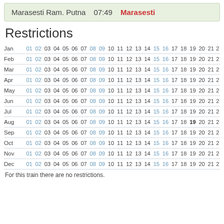Marasesti Ram. Putna  07:49  Marasesti
Restrictions
|  | 01 | 02 | 03 | 04 | 05 | 06 | 07 | 08 | 09 | 10 | 11 | 12 | 13 | 14 | 15 | 16 | 17 | 18 | 19 | 20 | 21 | ... |
| --- | --- | --- | --- | --- | --- | --- | --- | --- | --- | --- | --- | --- | --- | --- | --- | --- | --- | --- | --- | --- | --- | --- |
| Jan | 01 | 02 | 03 | 04 | 05 | 06 | 07 | 08 | 09 | 10 | 11 | 12 | 13 | 14 | 15 | 16 | 17 | 18 | 19 | 20 | 21 | 2 |
| Feb | 01 | 02 | 03 | 04 | 05 | 06 | 07 | 08 | 09 | 10 | 11 | 12 | 13 | 14 | 15 | 16 | 17 | 18 | 19 | 20 | 21 | 2 |
| Mar | 01 | 02 | 03 | 04 | 05 | 06 | 07 | 08 | 09 | 10 | 11 | 12 | 13 | 14 | 15 | 16 | 17 | 18 | 19 | 20 | 21 | 2 |
| Apr | 01 | 02 | 03 | 04 | 05 | 06 | 07 | 08 | 09 | 10 | 11 | 12 | 13 | 14 | 15 | 16 | 17 | 18 | 19 | 20 | 21 | 2 |
| May | 01 | 02 | 03 | 04 | 05 | 06 | 07 | 08 | 09 | 10 | 11 | 12 | 13 | 14 | 15 | 16 | 17 | 18 | 19 | 20 | 21 | 2 |
| Jun | 01 | 02 | 03 | 04 | 05 | 06 | 07 | 08 | 09 | 10 | 11 | 12 | 13 | 14 | 15 | 16 | 17 | 18 | 19 | 20 | 21 | 2 |
| Jul | 01 | 02 | 03 | 04 | 05 | 06 | 07 | 08 | 09 | 10 | 11 | 12 | 13 | 14 | 15 | 16 | 17 | 18 | 19 | 20 | 21 | 2 |
| Aug | 01 | 02 | 03 | 04 | 05 | 06 | 07 | 08 | 09 | 10 | 11 | 12 | 13 | 14 | 15 | 16 | 17 | 18 | 19 | 20 | 21 | 2 |
| Sep | 01 | 02 | 03 | 04 | 05 | 06 | 07 | 08 | 09 | 10 | 11 | 12 | 13 | 14 | 15 | 16 | 17 | 18 | 19 | 20 | 21 | 2 |
| Oct | 01 | 02 | 03 | 04 | 05 | 06 | 07 | 08 | 09 | 10 | 11 | 12 | 13 | 14 | 15 | 16 | 17 | 18 | 19 | 20 | 21 | 2 |
| Nov | 01 | 02 | 03 | 04 | 05 | 06 | 07 | 08 | 09 | 10 | 11 | 12 | 13 | 14 | 15 | 16 | 17 | 18 | 19 | 20 | 21 | 2 |
| Dec | 01 | 02 | 03 | 04 | 05 | 06 | 07 | 08 | 09 | 10 | 11 | 12 | 13 | 14 | 15 | 16 | 17 | 18 | 19 | 20 | 21 | 2 |
For this train there are no restrictions.